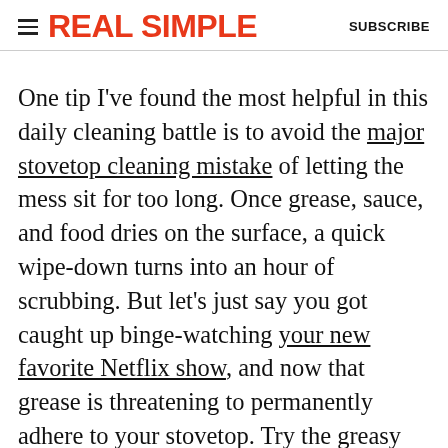REAL SIMPLE   SUBSCRIBE
One tip I've found the most helpful in this daily cleaning battle is to avoid the major stovetop cleaning mistake of letting the mess sit for too long. Once grease, sauce, and food dries on the surface, a quick wipe-down turns into an hour of scrubbing. But let's just say you got caught up binge-watching your new favorite Netflix show, and now that grease is threatening to permanently adhere to your stovetop. Try the greasy stovetop-cleaning techniques below, starting with the mildest